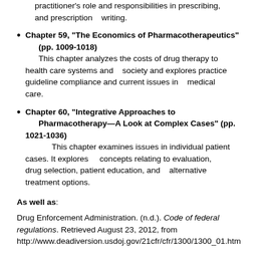Chapter 59, “The Economics of Pharmacotherapeutics” (pp. 1009-1018)
    This chapter analyzes the costs of drug therapy to health care systems and society and explores practice guideline compliance and current issues in medical care.
Chapter 60, “Integrative Approaches to Pharmacotherapy—A Look at Complex Cases” (pp. 1021-1036)
    This chapter examines issues in individual patient cases. It explores concepts relating to evaluation, drug selection, patient education, and alternative treatment options.
As well as:
Drug Enforcement Administration. (n.d.). Code of federal regulations. Retrieved August 23, 2012, from http://www.deadiversion.usdoj.gov/21cfr/cfr/1300/1300_01.htm